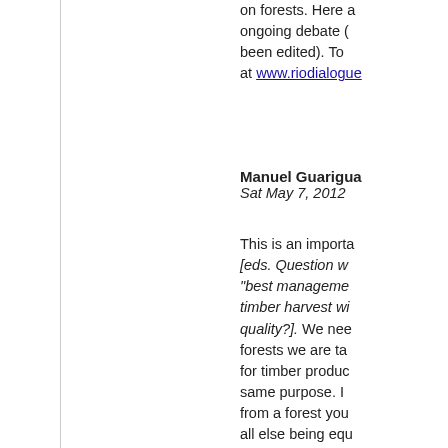on forests. Here a ongoing debate ( been edited). To at www.riodialogue
Manuel Guarigua
Sat May 7, 2012
This is an importa [eds. Question w "best manageme timber harvest wi quality?]. We nee forests we are ta for timber produc same purpose. I from a forest you all else being equ the ground to eve or else enhancing users. But reach in identifying "bes remote timber co populations is rel may be less of a good harvesting p a timber manage